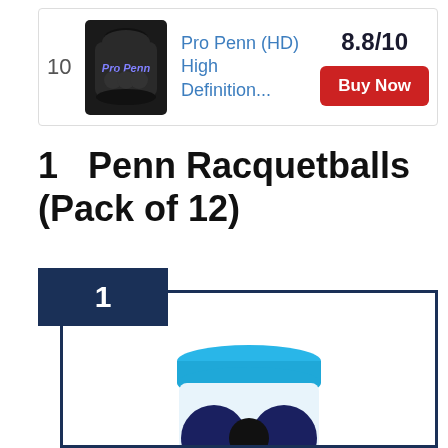[Figure (photo): Pro Penn (HD) High Definition racquetball product in a dark container, rank #10 listing card with score 8.8/10 and Buy Now button]
1   Penn Racquetballs (Pack of 12)
[Figure (photo): Penn Racquetballs Pack of 12 in a clear plastic jar with blue lid, showing Penn Ultra branding, rank badge #1]